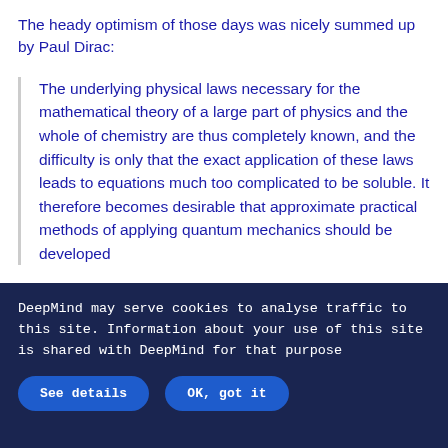The heady optimism of those days was nicely summed up by Paul Dirac:
The underlying physical laws necessary for the mathematical theory of a large part of physics and the whole of chemistry are thus completely known, and the difficulty is only that the exact application of these laws leads to equations much too complicated to be soluble. It therefore becomes desirable that approximate practical methods of applying quantum mechanics should be developed
DeepMind may serve cookies to analyse traffic to this site. Information about your use of this site is shared with DeepMind for that purpose